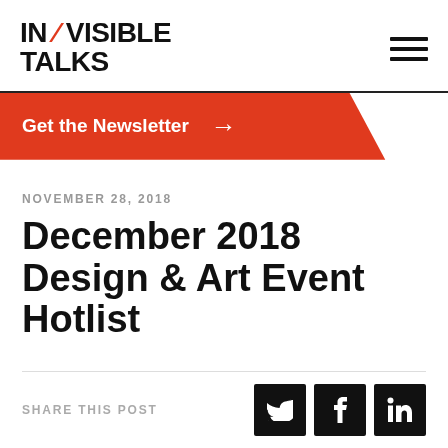IN/VISIBLE TALKS
[Figure (logo): IN/VISIBLE TALKS logo with red slash, hamburger menu icon top right]
Get the Newsletter →
NOVEMBER 28, 2018
December 2018 Design & Art Event Hotlist
SHARE THIS POST